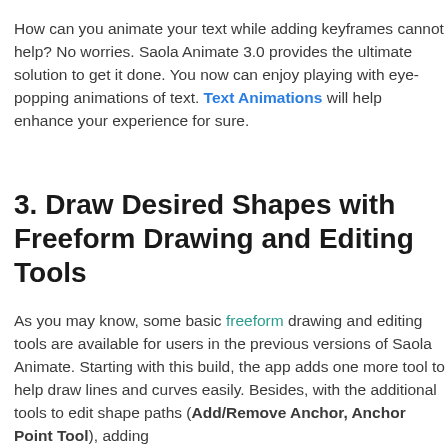How can you animate your text while adding keyframes cannot help? No worries. Saola Animate 3.0 provides the ultimate solution to get it done. You now can enjoy playing with eye-popping animations of text. Text Animations will help enhance your experience for sure.
3. Draw Desired Shapes with Freeform Drawing and Editing Tools
As you may know, some basic freeform drawing and editing tools are available for users in the previous versions of Saola Animate. Starting with this build, the app adds one more tool to help draw lines and curves easily. Besides, with the additional tools to edit shape paths (Add/Remove Anchor, Anchor Point Tool), adding